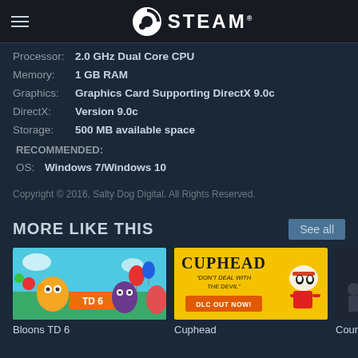STEAM
Processor: 2.0 GHz Dual Core CPU
Memory: 1 GB RAM
Graphics: Graphics Card Supporting DirectX 9.0c
DirectX: Version 9.0c
Storage: 500 MB available space
RECOMMENDED:
OS: Windows 7/Windows 10
Copyright © 2016, Salty Dog Digital. All Rights Reserved.
MORE LIKE THIS
[Figure (screenshot): Bloons TD 6 game thumbnail - colorful cartoon tower defense game]
Bloons TD 6
[Figure (screenshot): Cuphead game thumbnail - yellow background with Cuphead character, text 'Don't Deal With The Devil' and 'DLC Out Now!']
Cuphead
[Figure (screenshot): Partial game thumbnail - dark themed game, partially visible]
Cour